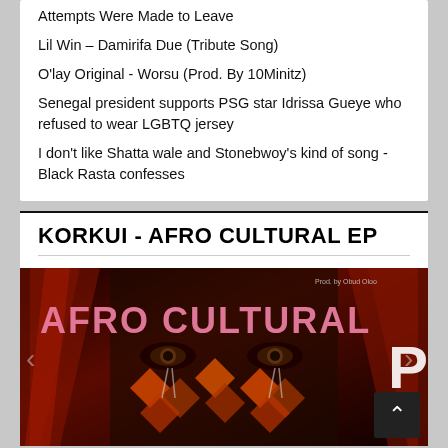Attempts Were Made to Leave
Lil Win – Damirifa Due (Tribute Song)
O'lay Original - Worsu (Prod. By 10Minitz)
Senegal president supports PSG star Idrissa Gueye who refused to wear LGBTQ jersey
I don't like Shatta wale and Stonebwoy's kind of song - Black Rasta confesses
KORKUI - AFRO CULTURAL EP
[Figure (photo): Album artwork for 'Afro Cultural EP' by Korkui. Shows a close-up of a face with decorative eye makeup and African-style geometric patterns. Large pink text reads 'AFRO CULTURAL' with 'Prod. by Obud Oloo' in small text at top right. Partially visible 'P' on the right indicating 'EP'.]